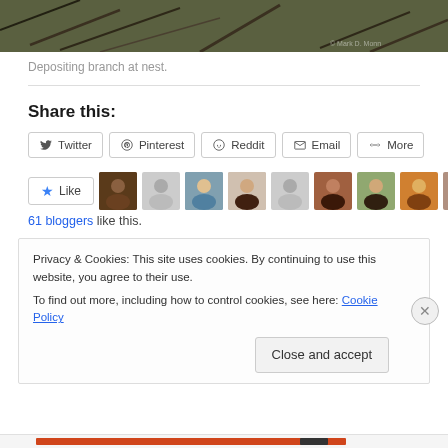[Figure (photo): Partial photo of branches/nest at top of page]
Depositing branch at nest.
Share this:
Twitter | Pinterest | Reddit | Email | More (share buttons)
Like button with 61 bloggers like this. and avatars of bloggers
Privacy & Cookies: This site uses cookies. By continuing to use this website, you agree to their use. To find out more, including how to control cookies, see here: Cookie Policy
Close and accept